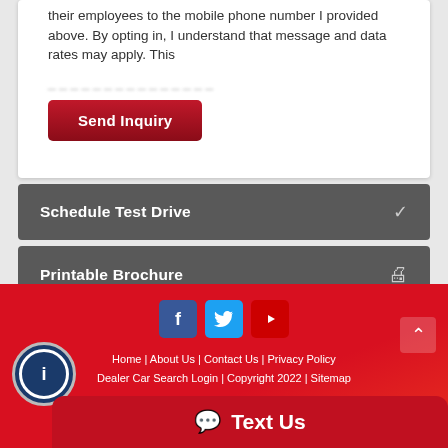their employees to the mobile phone number I provided above. By opting in, I understand that message and data rates may apply. This [blurred text]
Send Inquiry
Schedule Test Drive
Printable Brochure
Home | About Us | Contact Us | Privacy Policy
Dealer Car Search Login | Copyright 2022 | Sitemap
Text Us